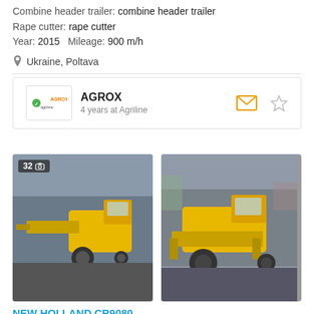Combine header trailer: combine header trailer
Rape cutter: rape cutter
Year: 2015   Mileage: 900 m/h
Ukraine, Poltava
AGROX
4 years at Agriline
[Figure (photo): Yellow combine harvester (New Holland) with extended header, parked on gravel, photo count badge showing 32]
[Figure (photo): Yellow combine harvester (New Holland) front/side view showing header attachment, parked outdoors]
NEW HOLLAND CR9080
price on request